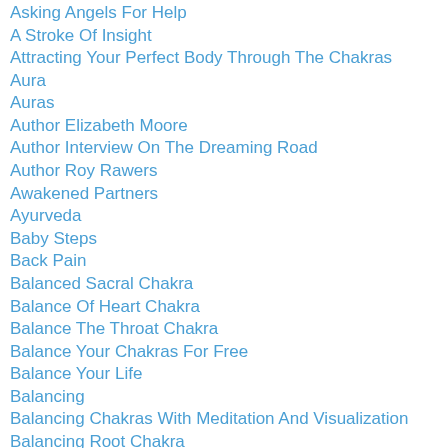Asking Angels For Help
A Stroke Of Insight
Attracting Your Perfect Body Through The Chakras
Aura
Auras
Author Elizabeth Moore
Author Interview On The Dreaming Road
Author Roy Rawers
Awakened Partners
Ayurveda
Baby Steps
Back Pain
Balanced Sacral Chakra
Balance Of Heart Chakra
Balance The Throat Chakra
Balance Your Chakras For Free
Balance Your Life
Balancing
Balancing Chakras With Meditation And Visualization
Balancing Root Chakra
Balancing Solar Plexus Chakra